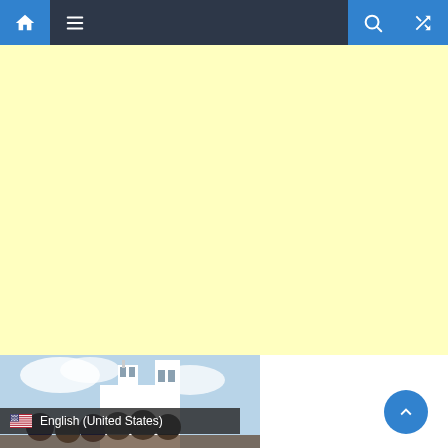Navigation bar with home, menu, search, and shuffle icons
[Figure (other): Yellow advertisement placeholder area]
[Figure (photo): Group of people standing in front of a white church building with towers, under a partly cloudy sky]
English (United States)